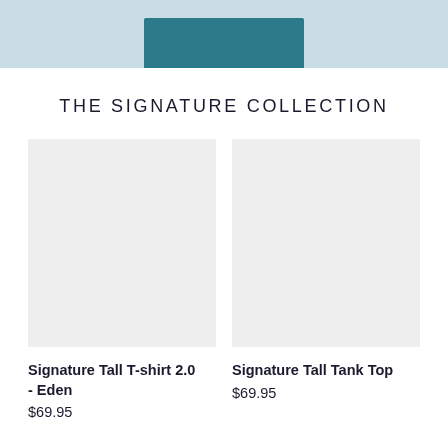[Figure (photo): Cropped top portion of a teal/dark teal folded garment on a light blue background]
THE SIGNATURE COLLECTION
[Figure (photo): Light gray placeholder image for Signature Tall T-shirt 2.0 - Eden product]
Signature Tall T-shirt 2.0 - Eden
$69.95
[Figure (photo): Light gray placeholder image for Signature Tall Tank Top product]
Signature Tall Tank Top
$69.95